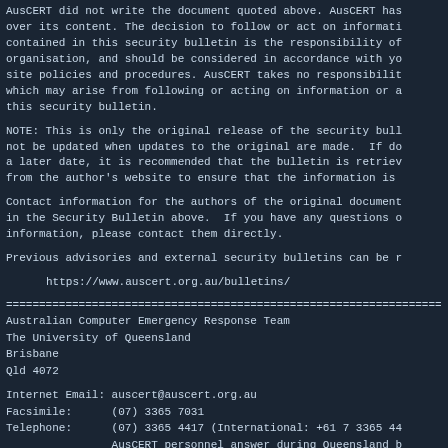AusCERT did not write the document quoted above. AusCERT has no control over its content. The decision to follow or act on information or advice contained in this security bulletin is the responsibility of each user or organisation, and should be considered in accordance with your site policies and procedures. AusCERT takes no responsibility for consequences which may arise from following or acting on information or advice contained in this security bulletin.
NOTE: This is only the original release of the security bulletin. It will not be updated when updates to the original are made. If deemed necessary, a later date, it is recommended that the bulletin is retrieved directly from the author's website to ensure that the information is current.
Contact information for the authors of the original document is included in the Security Bulletin above. If you have any questions or additional information, please contact them directly.
Previous advisories and external security bulletins can be retrieved from
https://www.auscert.org.au/bulletins/
===========================================================================
Australian Computer Emergency Response Team
The University of Queensland
Brisbane
Qld 4072
Internet Email: auscert@auscert.org.au
Facsimile:      (07) 3365 7031
Telephone:      (07) 3365 4417 (International: +61 7 3365 44
                AusCERT personnel answer during Queensland b
                which are GMT+10:00 (AEST).
                On call after hours for member emergencies